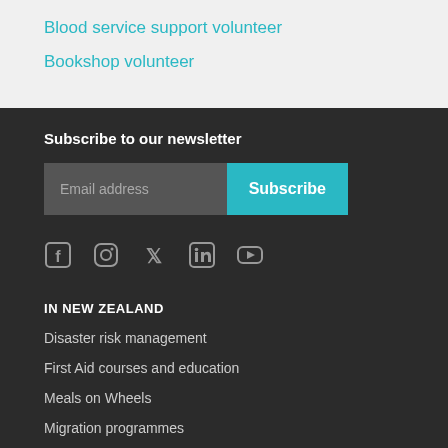Blood service support volunteer
Bookshop volunteer
Subscribe to our newsletter
Email address | Subscribe
[Figure (infographic): Social media icons: Facebook, Instagram, Twitter, LinkedIn, YouTube]
IN NEW ZEALAND
Disaster risk management
First Aid courses and education
Meals on Wheels
Migration programmes
Restoring Family Links